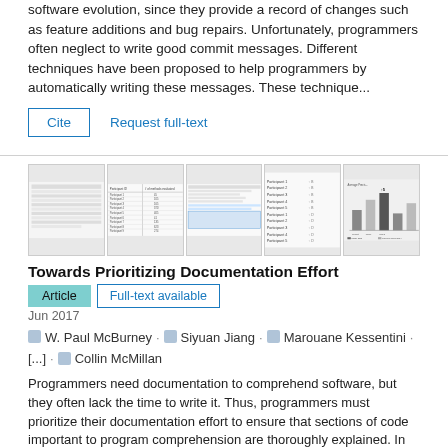software evolution, since they provide a record of changes such as feature additions and bug repairs. Unfortunately, programmers often neglect to write good commit messages. Different techniques have been proposed to help programmers by automatically writing these messages. These technique...
Cite
Request full-text
[Figure (screenshot): Thumbnail strip showing four document/table/chart images from a research paper]
Towards Prioritizing Documentation Effort
Article
Full-text available
Jun 2017
W. Paul McBurney · Siyuan Jiang · Marouane Kessentini · [...] · Collin McMillan
Programmers need documentation to comprehend software, but they often lack the time to write it. Thus, programmers must prioritize their documentation effort to ensure that sections of code important to program comprehension are thoroughly explained. In this paper, we explore the possibility of automatically prioritizing documentation effort...